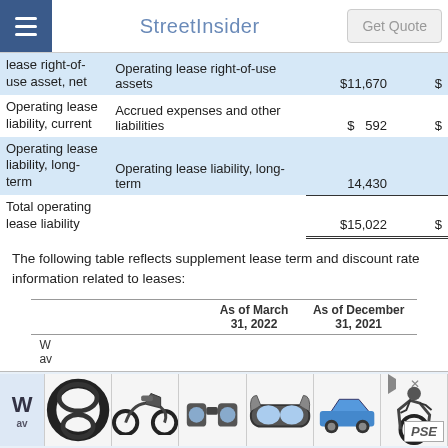StreetInsider  Get Quote
|  | Balance Sheet Classification | As of (col1) | As of (col2) |
| --- | --- | --- | --- |
| lease right-of-use asset, net | Operating lease right-of-use assets | $11,670 | $ |
| Operating lease liability, current | Accrued expenses and other liabilities | $  592 | $ |
| Operating lease liability, long-term | Operating lease liability, long-term | 14,430 | — |
| Total operating lease liability |  | $15,022 | $ |
The following table reflects supplement lease term and discount rate information related to leases:
|  | As of March 31, 2022 | As of December 31, 2021 |
| --- | --- | --- |
| W... av... |  |  |